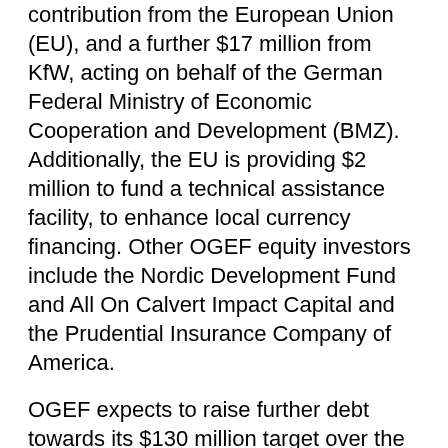contribution from the European Union (EU), and a further $17 million from KfW, acting on behalf of the German Federal Ministry of Economic Cooperation and Development (BMZ). Additionally, the EU is providing $2 million to fund a technical assistance facility, to enhance local currency financing. Other OGEF equity investors include the Nordic Development Fund and All On Calvert Impact Capital and the Prudential Insurance Company of America.
OGEF expects to raise further debt towards its $130 million target over the next 12-18 months.
The African Development Bank is the fund's anchor sponsor with a $30 million contribution, and $8.5 million from the Global Environment Facility (GEF).
Welcoming the EU and KfW contributions, Wale Shonibare, the Bank's acting Vice-President for Power, Energy, Climate Change and Green Growth, emphasized the strategic importance of FEI in delivering the Bank's renewable energy strategy for Africa, and the global SDG7 goal of energy access. “We are pleased to welcome the participation of like-minded partners in our shared ambition to promote